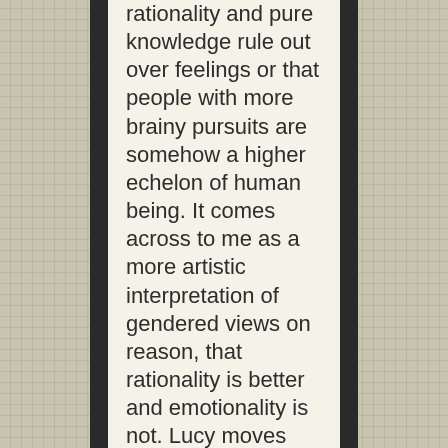rationality and pure knowledge rule out over feelings or that people with more brainy pursuits are somehow a higher echelon of human being. It comes across to me as a more artistic interpretation of gendered views on reason, that rationality is better and emotionality is not. Lucy moves from the beginning of the film where we are given nothing but a scared lady wearing typical club gear, scared out of her wits, to being transformed into a